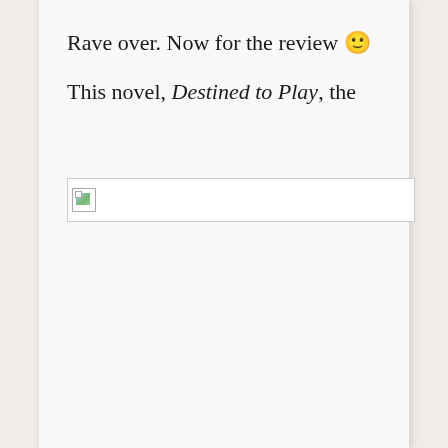Rave over. Now for the review 🙂
This novel, Destined to Play, the
[Figure (photo): Broken/missing image placeholder icon at top-left of a white bordered box]